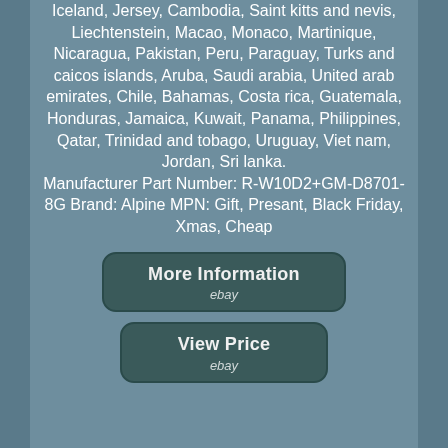Iceland, Jersey, Cambodia, Saint kitts and nevis, Liechtenstein, Macao, Monaco, Martinique, Nicaragua, Pakistan, Peru, Paraguay, Turks and caicos islands, Aruba, Saudi arabia, United arab emirates, Chile, Bahamas, Costa rica, Guatemala, Honduras, Jamaica, Kuwait, Panama, Philippines, Qatar, Trinidad and tobago, Uruguay, Viet nam, Jordan, Sri lanka. Manufacturer Part Number: R-W10D2+GM-D8701-8G Brand: Alpine MPN: Gift, Presant, Black Friday, Xmas, Cheap
[Figure (screenshot): Button labeled 'More Information' with 'ebay' subtext, dark teal rounded rectangle]
[Figure (screenshot): Button labeled 'View Price' with 'ebay' subtext, dark teal rounded rectangle]